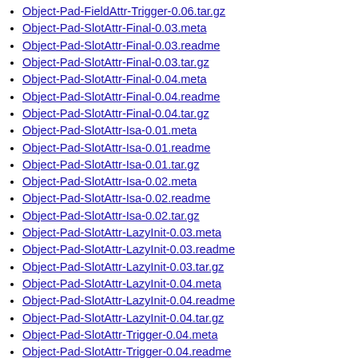Object-Pad-FieldAttr-Trigger-0.06.tar.gz
Object-Pad-SlotAttr-Final-0.03.meta
Object-Pad-SlotAttr-Final-0.03.readme
Object-Pad-SlotAttr-Final-0.03.tar.gz
Object-Pad-SlotAttr-Final-0.04.meta
Object-Pad-SlotAttr-Final-0.04.readme
Object-Pad-SlotAttr-Final-0.04.tar.gz
Object-Pad-SlotAttr-Isa-0.01.meta
Object-Pad-SlotAttr-Isa-0.01.readme
Object-Pad-SlotAttr-Isa-0.01.tar.gz
Object-Pad-SlotAttr-Isa-0.02.meta
Object-Pad-SlotAttr-Isa-0.02.readme
Object-Pad-SlotAttr-Isa-0.02.tar.gz
Object-Pad-SlotAttr-LazyInit-0.03.meta
Object-Pad-SlotAttr-LazyInit-0.03.readme
Object-Pad-SlotAttr-LazyInit-0.03.tar.gz
Object-Pad-SlotAttr-LazyInit-0.04.meta
Object-Pad-SlotAttr-LazyInit-0.04.readme
Object-Pad-SlotAttr-LazyInit-0.04.tar.gz
Object-Pad-SlotAttr-Trigger-0.04.meta
Object-Pad-SlotAttr-Trigger-0.04.readme
Object-Pad-SlotAttr-Trigger-0.04.tar.gz
Object-Pad-SlotAttr-Trigger-0.05.meta
Object-Pad-SlotAttr-Trigger-0.05.readme
Object-Pad-SlotAttr-Trigger-0.05.tar.gz